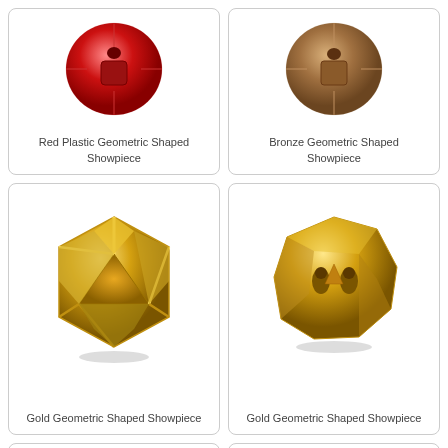[Figure (photo): Red plastic geometric shaped showpiece, round form with concave cutouts, viewed from above]
Red Plastic Geometric Shaped Showpiece
[Figure (photo): Bronze geometric shaped showpiece, round form with concave cutouts, viewed from above]
Bronze Geometric Shaped Showpiece
[Figure (photo): Gold geometric shaped showpiece, polyhedral cage-like structure with triangular openings]
Gold Geometric Shaped Showpiece
[Figure (photo): Gold geometric shaped showpiece, round disk form with two teardrop holes and irregular facets]
Gold Geometric Shaped Showpiece
[Figure (photo): Gold geometric shaped showpiece, partially visible at bottom of page]
[Figure (photo): Silver/white geometric shaped showpiece, partially visible at bottom of page]